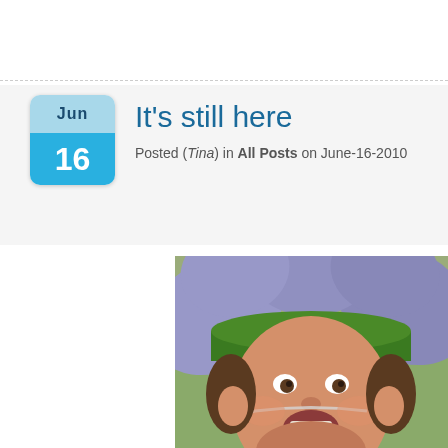It's still here
Posted (Tina) in All Posts on June-16-2010
[Figure (photo): A young child wearing a flower headband made of purple felt petals and a green band, with a nasal cannula, mouth open, looking at camera]